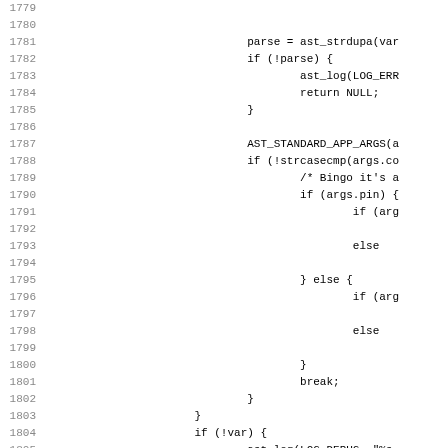[Figure (other): Source code listing showing lines 1779-1811 of a C file with AST (Asterisk) code, including parse, AST_STANDARD_APP_ARGS, strcasecmp, pin handling logic, ast_config_destroy, and dynamic_pin handling.]